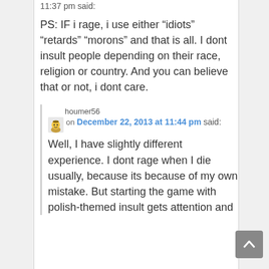11:37 pm said:
PS: IF i rage, i use either “idiots” “retards” “morons” and that is all. I dont insult people depending on their race, religion or country. And you can believe that or not, i dont care.
houmer56 on December 22, 2013 at 11:44 pm said:
Well, I have slightly different experience. I dont rage when I die usually, because its because of my own mistake. But starting the game with polish-themed insult gets attention and